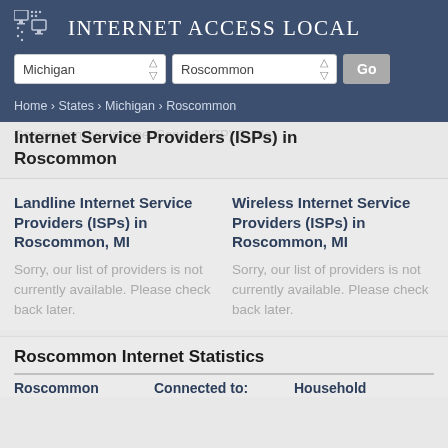INTERNET ACCESS LOCAL
Michigan  Roscommon  Go
Home › States › Michigan › Roscommon
Internet Service Providers (ISPs) in Roscommon
Landline Internet Service Providers (ISPs) in Roscommon, MI
Sorry, our list of providers is not currently available. Please check back later.
Wireless Internet Service Providers (ISPs) in Roscommon, MI
Sorry, our list of providers is not currently available. Please check back later.
Roscommon Internet Statistics
Roscommon  Connected to:  Household